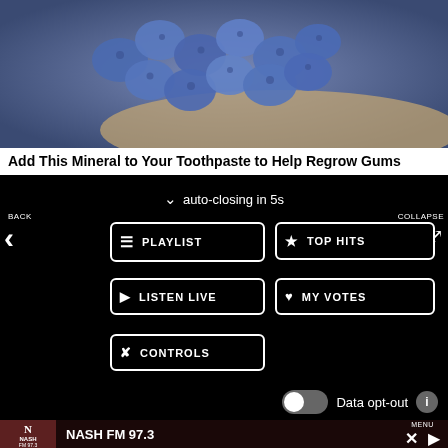[Figure (photo): Blue fruits (blueberries or similar) held in a hand, advertisement image]
Add This Mineral to Your Toothpaste to Help Regrow Gums
auto-closing in 5s
BACK
COLLAPSE
PLAYLIST
TOP HITS
LISTEN LIVE
MY VOTES
CONTROLS
Data opt-out
NASH FM 97.3
NASH FM 97.3
MENU